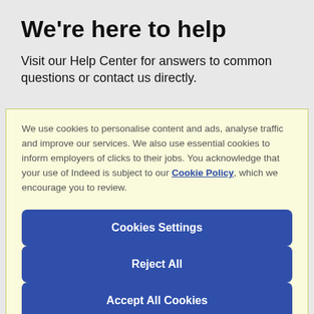We're here to help
Visit our Help Center for answers to common questions or contact us directly.
We use cookies to personalise content and ads, analyse traffic and improve our services. We also use essential cookies to inform employers of clicks to their jobs. You acknowledge that your use of Indeed is subject to our Cookie Policy, which we encourage you to review.
Cookies Settings
Reject All
Accept All Cookies